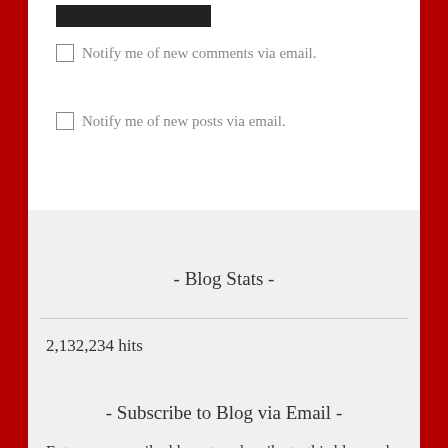[Figure (other): Dark submit button at top]
Notify me of new comments via email.
Notify me of new posts via email.
- Blog Stats -
2,132,234 hits
- Subscribe to Blog via Email -
Enter your email address to subscribe to this blog and receive notifications of new posts by email.